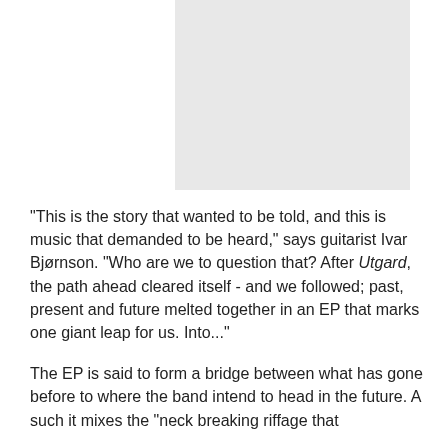[Figure (photo): A light gray rectangular image placeholder occupying the upper center-right area of the page.]
"This is the story that wanted to be told, and this is music that demanded to be heard," says guitarist Ivar Bjørnson. "Who are we to question that? After Utgard, the path ahead cleared itself - and we followed; past, present and future melted together in an EP that marks one giant leap for us. Into..."
The EP is said to form a bridge between what has gone before to where the band intend to head in the future. A such it mixes the "neck breaking riffage that